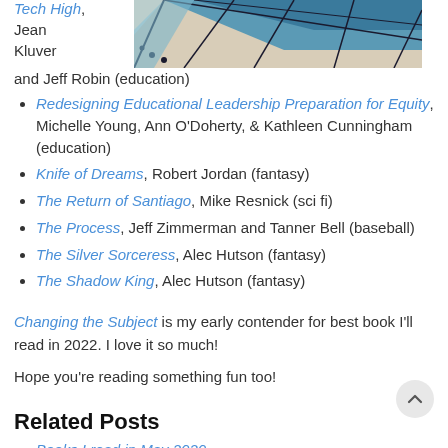[Figure (illustration): Partial view of illustrated comic-style image showing geometric/architectural shapes in teal and beige tones, top-right corner of page]
Tech High, Jean Kluver and Jeff Robin (education)
Redesigning Educational Leadership Preparation for Equity, Michelle Young, Ann O'Doherty, & Kathleen Cunningham (education)
Knife of Dreams, Robert Jordan (fantasy)
The Return of Santiago, Mike Resnick (sci fi)
The Process, Jeff Zimmerman and Tanner Bell (baseball)
The Silver Sorceress, Alec Hutson (fantasy)
The Shadow King, Alec Hutson (fantasy)
Changing the Subject is my early contender for best book I'll read in 2022. I love it so much!
Hope you're reading something fun too!
Related Posts
Books I read in May 2020